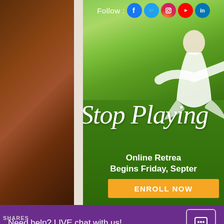[Figure (photo): Left side shows a dark brown textured surface (leather or wood). Main area shows a promotional image for an online retreat featuring a woman in white dress with arms outstretched in a green outdoor setting. Social media icons (Facebook, Twitter, Instagram, YouTube, LinkedIn) appear at top with 'Follow:' label. Script text reads 'Stop Playing'. Below reads 'Online Retreat Begins Friday, Septe...' with a yellow 'ENROLL NOW' button.]
Follow :
Stop Playing
Online Retreat
Begins Friday, Septer
ENROLL NOW
Need help? LIVE chat with us!